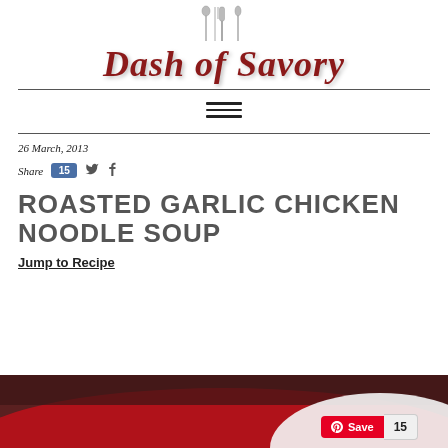[Figure (logo): Dash of Savory blog logo with cursive italic red text and silverware (fork, knife, spoon) illustration above]
26 March, 2013
Share  15
ROASTED GARLIC CHICKEN NOODLE SOUP
Jump to Recipe
[Figure (photo): Food photo showing what appears to be a soup dish, partially visible at the bottom of the page, with a red curved design element and a Pinterest Save button overlay showing count of 15]